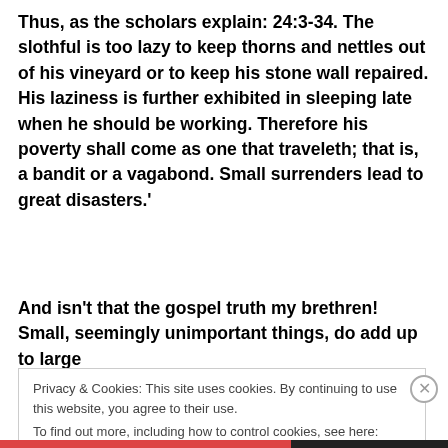Thus, as the scholars explain: 24:3-34. The slothful is too lazy to keep thorns and nettles out of his vineyard or to keep his stone wall repaired. His laziness is further exhibited in sleeping late when he should be working. Therefore his poverty shall come as one that traveleth; that is, a bandit or a vagabond. Small surrenders lead to great disasters.'
And isn't that the gospel truth my brethren! Small, seemingly unimportant things, do add up to large
Privacy & Cookies: This site uses cookies. By continuing to use this website, you agree to their use.
To find out more, including how to control cookies, see here: Cookie Policy